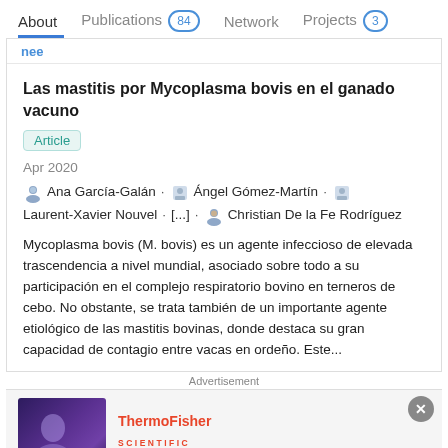About  Publications 84  Network  Projects 3
Las mastitis por Mycoplasma bovis en el ganado vacuno
Article
Apr 2020
Ana García-Galán · Ángel Gómez-Martín · Laurent-Xavier Nouvel · [...] · Christian De la Fe Rodríguez
Mycoplasma bovis (M. bovis) es un agente infeccioso de elevada trascendencia a nivel mundial, asociado sobre todo a su participación en el complejo respiratorio bovino en terneros de cebo. No obstante, se trata también de un importante agente etiológico de las mastitis bovinas, donde destaca su gran capacidad de contagio entre vacas en ordeño. Este...
Advertisement
[Figure (other): ThermoFisher Scientific advertisement banner with Gene Synthesis Handbook text and purple/dark background image]
Gene Synthesis Handbook